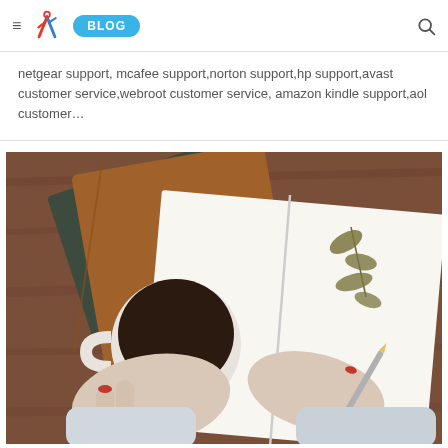≡ [logo] BLOG [search]
netgear support, mcafee support,norton support,hp support,avast customer service,webroot customer service, amazon kindle support,aol customer…
[Figure (photo): Overhead view of a person holding a coffee cup with red nails, writing in an open notebook with pressed leaves on a wooden table, with stacked leather notebooks nearby.]